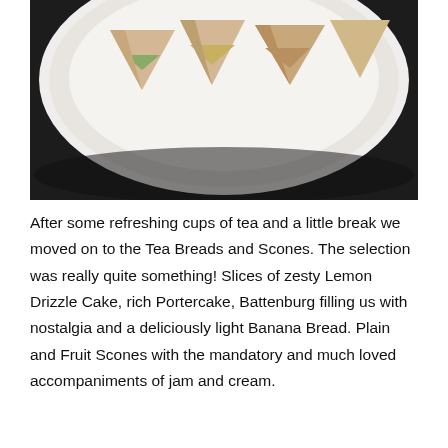[Figure (photo): A white plate on a dark black surface holding triangular cut sandwiches with various fillings visible from above.]
After some refreshing cups of tea and a little break we moved on to the Tea Breads and Scones. The selection was really quite something! Slices of zesty Lemon Drizzle Cake, rich Portercake, Battenburg filling us with nostalgia and a deliciously light Banana Bread. Plain and Fruit Scones with the mandatory and much loved accompaniments of jam and cream.